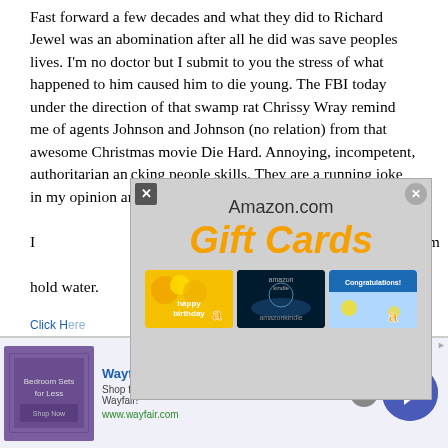Fast forward a few decades and what they did to Richard Jewel was an abomination after all he did was save peoples lives. I'm no doctor but I submit to you the stress of what happened to him caused him to die young. The FBI today under the direction of that swamp rat Chrissy Wray remind me of agents Johnson and Johnson (no relation) from that awesome Christmas movie Die Hard. Annoying, incompetent, authoritarian an*cking people skills. They are a running joke in my opinion and nothing will change my mi[nd. There are many reasons why I [made this] statem[ent and this] can't hold water.
[Figure (screenshot): Amazon.com Gift Cards popup advertisement overlay showing 'Amazon.com' text and 'Gift Cards' in large orange italic font, with three gift card images below (Happy Birthday, Amazon Kindle, Congratulations). Has two close buttons (X).]
Click H[ere]
[Figure (screenshot): Wayfair.com banner advertisement: 'Wayfair.com - Online Home Store Sale!' with subtitle 'Shop for A Zillion Things Home across all styles at Wayfair!' and URL www.wayfair.com. Shows a purple bedroom image on left and a blue arrow circle button on right. Has a close (x) button.]